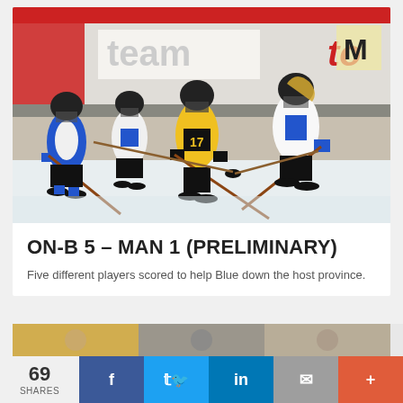[Figure (photo): Women's ice hockey game action photo showing players from two teams (one in black and yellow jerseys, one in white and blue) competing for the puck on the ice. Arena boards visible in background with partial sponsor signage including 'team' and 'to' (partial Tostitos or similar). Players are in a scrumming/battling position with hockey sticks.]
ON-B 5 – MAN 1 (PRELIMINARY)
Five different players scored to help Blue down the host province.
[Figure (photo): Partial preview strip of another article image at the bottom of the page]
69 SHARES
Facebook share button
Twitter share button
LinkedIn share button
Email share button
More share options button